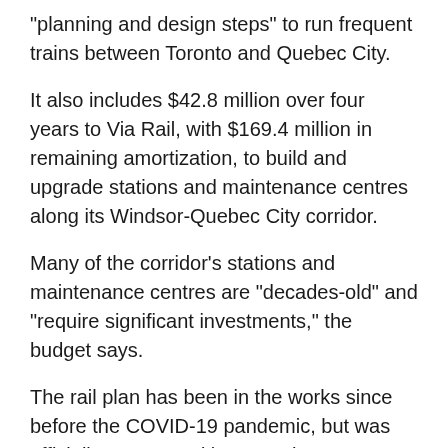“planning and design steps” to run frequent trains between Toronto and Quebec City.
It also includes $42.8 million over four years to Via Rail, with $169.4 million in remaining amortization, to build and upgrade stations and maintenance centres along its Windsor-Quebec City corridor.
Many of the corridor’s stations and maintenance centres are “decades-old” and “require significant investments,” the budget says.
The rail plan has been in the works since before the COVID-19 pandemic, but was officially announced last year by Transportation Minister Omar Alghabra during a press conference held onboard a Via Rail train.
Via Rail has said a high frequency rail line operating on